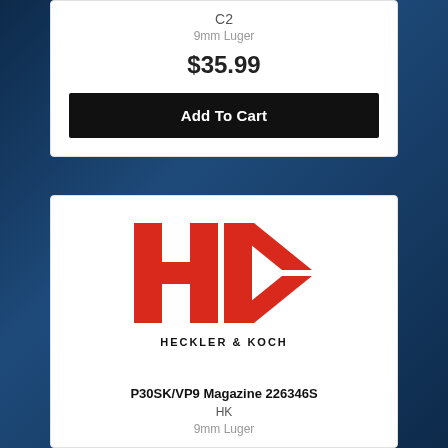C2
9mm Luger
$35.99
Add To Cart
[Figure (logo): Heckler & Koch logo — red HK monogram with HECKLER & KOCH text below]
P30SK/VP9 Magazine 226346S
HK
9mm Luger